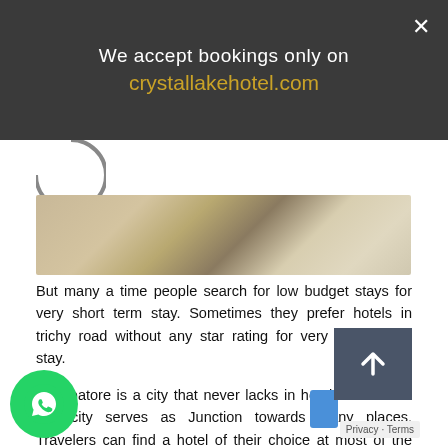We accept bookings only on
crystallakehotel.com
[Figure (photo): Hotel room interior photo showing marble/stone flooring and furniture, partial view]
But many a time people search for low budget stays for very short term stay. Sometimes they prefer hotels in trichy road without any star rating for very short terms stay.
Coimbatore is a city that never lacks in hotel services as this city serves as Junction towards many places. Travelers can find a hotel of their choice at most of the part of Coimbatore. Obviously, the number of hotels is significantly high near the railway station, major bus stands, airport, and national highways.
...ly, people search for hotels at a pla... ...ent for them.